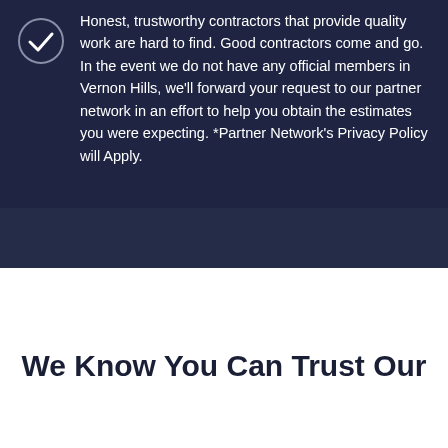Honest, trustworthy contractors that provide quality work are hard to find. Good contractors come and go. In the event we do not have any official members in Vernon Hills, we'll forward your request to our partner network in an effort to help you obtain the estimates you were expecting. *Partner Network's Privacy Policy will Apply.
We Know You Can Trust Our